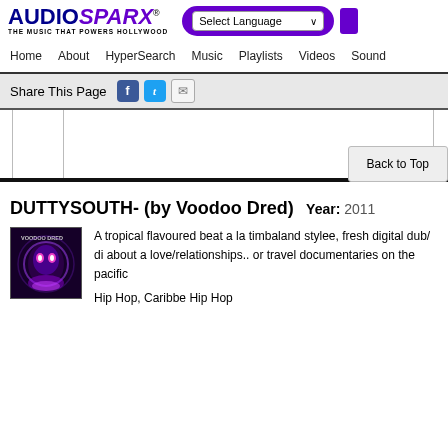AUDIOSPARX - THE MUSIC THAT POWERS HOLLYWOOD
Home  About  HyperSearch  Music  Playlists  Videos  Sound
Share This Page
[Figure (screenshot): Audio player with column dividers]
DUTTYSOUTH- (by Voodoo Dred) Year: 2011
[Figure (illustration): Voodoo Dred album cover - dark purple background with stylized face]
A tropical flavoured beat a la timbaland stylee, fresh digital dub/ di about a love/relationships.. or travel documentaries on the pacific Hip Hop, Caribbe Hip Hop
Back to Top